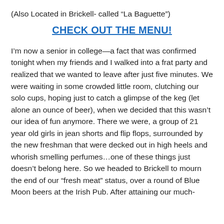(Also Located in Brickell- called “La Baguette”)
CHECK OUT THE MENU!
I’m now a senior in college—a fact that was confirmed tonight when my friends and I walked into a frat party and realized that we wanted to leave after just five minutes. We were waiting in some crowded little room, clutching our solo cups, hoping just to catch a glimpse of the keg (let alone an ounce of beer), when we decided that this wasn’t our idea of fun anymore. There we were, a group of 21 year old girls in jean shorts and flip flops, surrounded by the new freshman that were decked out in high heels and whorish smelling perfumes…one of these things just doesn’t belong here. So we headed to Brickell to mourn the end of our “fresh meat” status, over a round of Blue Moon beers at the Irish Pub. After attaining our much-